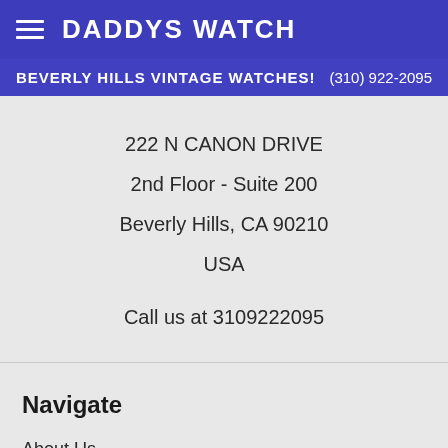DADDYS WATCH
BEVERLY HILLS VINTAGE WATCHES!  (310) 922-2095
222 N CANON DRIVE
2nd Floor - Suite 200
Beverly Hills, CA 90210
USA

Call us at 3109222095
Navigate
About Us
FAQ